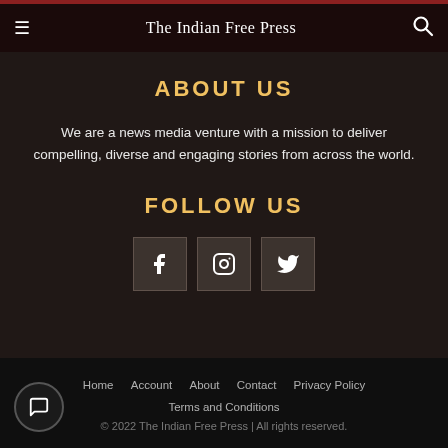The Indian Free Press
ABOUT US
We are a news media venture with a mission to deliver compelling, diverse and engaging stories from across the world.
FOLLOW US
[Figure (illustration): Three social media icon buttons: Facebook (f), Instagram (camera/circle), Twitter (bird) arranged horizontally]
Home   Account   About   Contact   Privacy Policy   Terms and Conditions   © 2022 The Indian Free Press | All rights reserved.